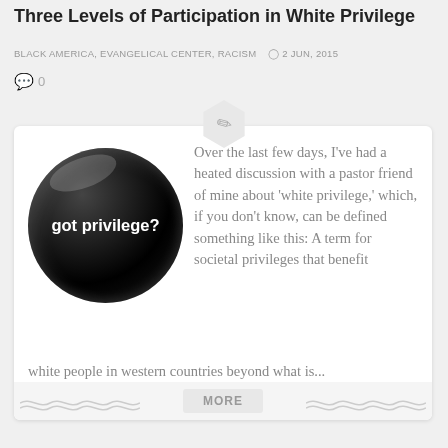Three Levels of Participation in White Privilege
BLACK AMERICA, EVANGELICAL CENTER, RACISM   2 JUN, 2015
0
[Figure (photo): A black circular button badge with white text reading 'got privilege?']
Over the last few days, I've had a heated discussion with a pastor friend of mine about 'white privilege,' which, if you don't know, can be defined something like this: A term for societal privileges that benefit white people in western countries beyond what is...